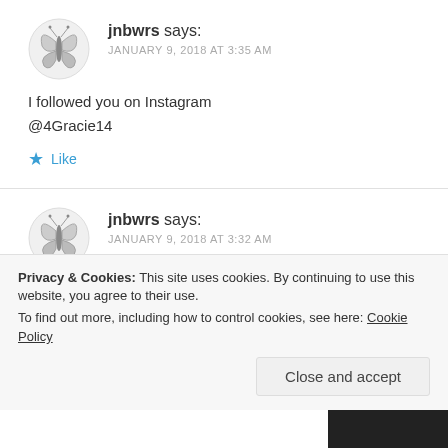jnbwrs says: JANUARY 9, 2018 AT 3:35 AM
I followed you on Instagram
@4Gracie14
Like
jnbwrs says: JANUARY 9, 2018 AT 3:32 AM
Privacy & Cookies: This site uses cookies. By continuing to use this website, you agree to their use.
To find out more, including how to control cookies, see here: Cookie Policy
Close and accept